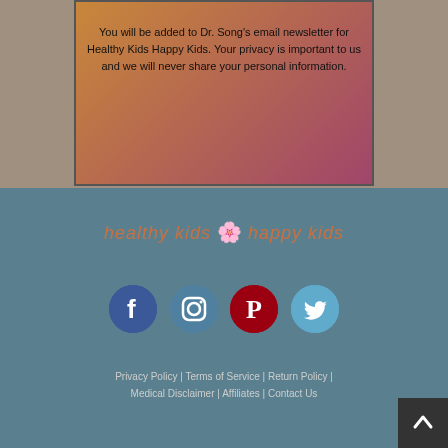You will be added to Dr. Song's email newsletter for Healthy Kids Happy Kids. Your privacy is important to us and we will never share your personal information.
[Figure (logo): Healthy Kids Happy Kids logo with lotus flower icon in orange/pink text]
[Figure (infographic): Social media icons: Facebook (blue), Instagram (dark blue-grey), Pinterest (dark red), Twitter (light blue)]
Privacy Policy | Terms of Service | Return Policy | Medical Disclaimer | Affiliates | Contact Us © 2020 Healthy Kids Happy Kids